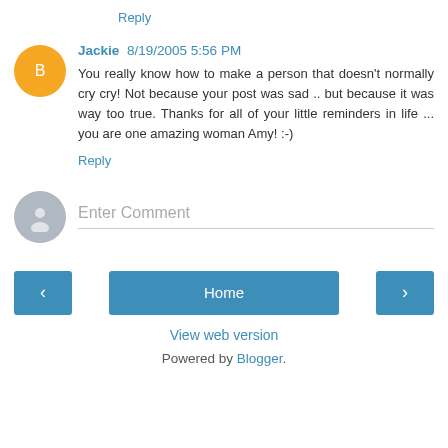Reply
Jackie 8/19/2005 5:56 PM
You really know how to make a person that doesn't normally cry cry! Not because your post was sad .. but because it was way too true. Thanks for all of your little reminders in life ... you are one amazing woman Amy! :-)
Reply
Enter Comment
Home
View web version
Powered by Blogger.